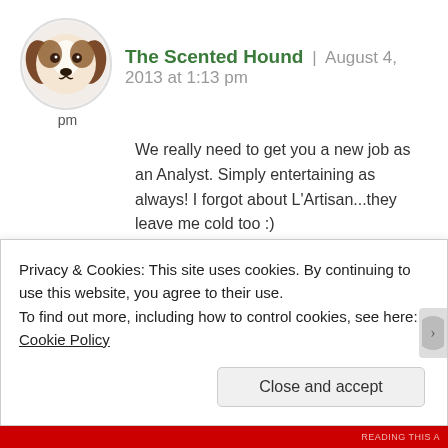[Figure (photo): Circular avatar image of a beagle dog with brown and white coloring, with label 'pm' below]
The Scented Hound | August 4, 2013 at 1:13 pm
We really need to get you a new job as an Analyst. Simply entertaining as always! I forgot about L'Artisan...they leave me cold too :)
★ Like
Reply
Privacy & Cookies: This site uses cookies. By continuing to use this website, you agree to their use.
To find out more, including how to control cookies, see here: Cookie Policy